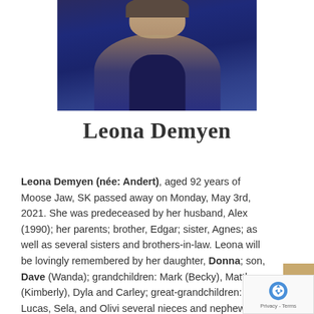[Figure (photo): Portrait photo of Leona Demyen, an elderly woman wearing a blue jacket, cropped to show neck and torso area]
Leona Demyen
Leona Demyen (née: Andert), aged 92 years of Moose Jaw, SK passed away on Monday, May 3rd, 2021. She was predeceased by her husband, Alex (1990); her parents; brother, Edgar; sister, Agnes; as well as several sisters and brothers-in-law. Leona will be lovingly remembered by her daughter, Donna; son, Dave (Wanda); grandchildren: Mark (Becky), Matthew (Kimberly), Dyla and Carley; great-grandchildren: Lucas, Sela, and Olivi several nieces and nephews; family friend, Barb; as we